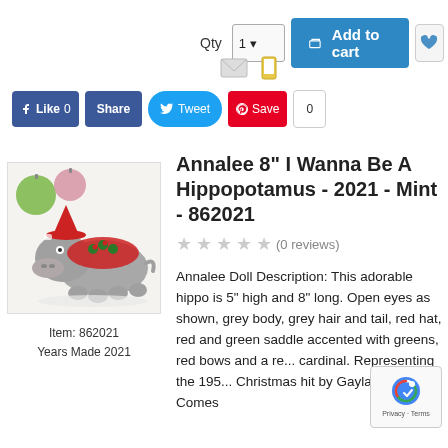[Figure (screenshot): E-commerce top bar with Qty selector, Add to cart button, wishlist button, notify icons, and social sharing buttons (Like, Share, Tweet, Save)]
[Figure (photo): Annalee hippo doll wearing a red hat and green/red saddle, posed with green and pink Christmas ornaments]
Item: 862021
Years Made 2021
Annalee 8" I Wanna Be A Hippopotamus - 2021 - Mint - 862021
(0 reviews)
Annalee Doll Description: This adorable hippo is 5" high and 8" long. Open eyes as shown, grey body, grey hair and tail, red hat, red and green saddle accented with greens, red bows and a re... cardinal. Representing the 195... Christmas hit by Gayla Peevoy. Comes